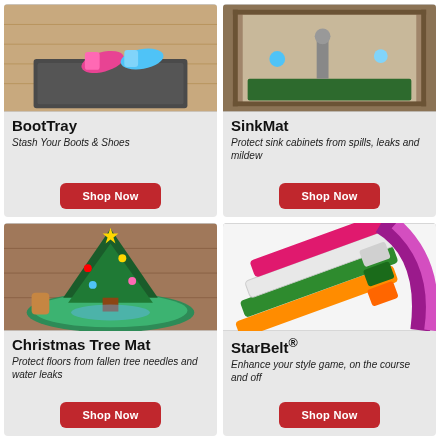[Figure (photo): BootTray product photo showing boots and shoes on a mat near a doorway]
BootTray
Stash Your Boots & Shoes
Shop Now
[Figure (photo): SinkMat product photo showing a mat inside a sink cabinet]
SinkMat
Protect sink cabinets from spills, leaks and mildew
Shop Now
[Figure (photo): Christmas Tree Mat product photo showing a green mat around a Christmas tree base]
Christmas Tree Mat
Protect floors from fallen tree needles and water leaks
Shop Now
[Figure (photo): StarBelt product photo showing colorful belts in pink, green, white, and orange]
StarBelt®
Enhance your style game, on the course and off
Shop Now